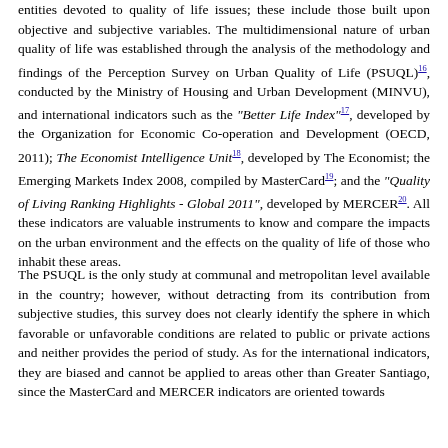entities devoted to quality of life issues; these include those built upon objective and subjective variables. The multidimensional nature of urban quality of life was established through the analysis of the methodology and findings of the Perception Survey on Urban Quality of Life (PSUQL)^16, conducted by the Ministry of Housing and Urban Development (MINVU), and international indicators such as the "Better Life Index"^17, developed by the Organization for Economic Co-operation and Development (OECD, 2011); The Economist Intelligence Unit^18, developed by The Economist; the Emerging Markets Index 2008, compiled by MasterCard^19; and the "Quality of Living Ranking Highlights - Global 2011", developed by MERCER^20. All these indicators are valuable instruments to know and compare the impacts on the urban environment and the effects on the quality of life of those who inhabit these areas.
The PSUQL is the only study at communal and metropolitan level available in the country; however, without detracting from its contribution from subjective studies, this survey does not clearly identify the sphere in which favorable or unfavorable conditions are related to public or private actions and neither provides the period of study. As for the international indicators, they are biased and cannot be applied to areas other than Greater Santiago, since the MasterCard and MERCER indicators are oriented towards